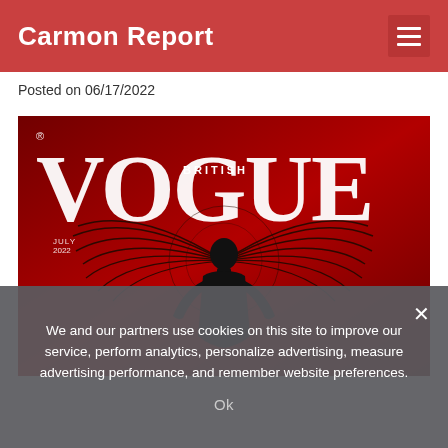Carmon Report
Posted on 06/17/2022
[Figure (photo): British Vogue July 2022 magazine cover featuring a person in a black outfit with large feathered wings against a red background, with large 'VOGUE' text and 'BRITISH' text visible.]
We and our partners use cookies on this site to improve our service, perform analytics, personalize advertising, measure advertising performance, and remember website preferences.